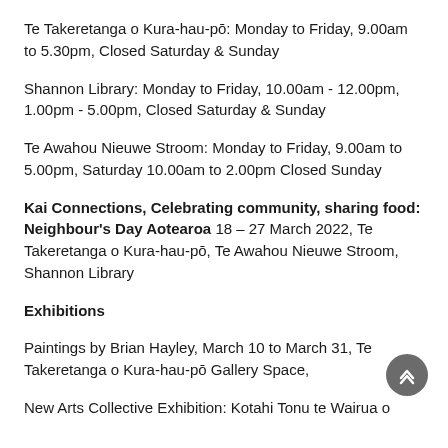Te Takeretanga o Kura-hau-pō: Monday to Friday, 9.00am to 5.30pm, Closed Saturday & Sunday
Shannon Library: Monday to Friday, 10.00am - 12.00pm, 1.00pm - 5.00pm, Closed Saturday & Sunday
Te Awahou Nieuwe Stroom: Monday to Friday, 9.00am to 5.00pm, Saturday 10.00am to 2.00pm Closed Sunday
Kai Connections, Celebrating community, sharing food: Neighbour's Day Aotearoa 18 – 27 March 2022, Te Takeretanga o Kura-hau-pō, Te Awahou Nieuwe Stroom, Shannon Library
Exhibitions
Paintings by Brian Hayley, March 10 to March 31, Te Takeretanga o Kura-hau-pō Gallery Space,
New Arts Collective Exhibition: Kotahi Tonu te Wairua o